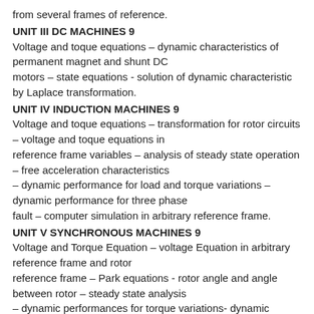from several frames of reference.
UNIT III DC MACHINES 9
Voltage and toque equations – dynamic characteristics of permanent magnet and shunt DC motors – state equations - solution of dynamic characteristic by Laplace transformation.
UNIT IV INDUCTION MACHINES 9
Voltage and toque equations – transformation for rotor circuits – voltage and toque equations in reference frame variables – analysis of steady state operation – free acceleration characteristics – dynamic performance for load and torque variations – dynamic performance for three phase fault – computer simulation in arbitrary reference frame.
UNIT V SYNCHRONOUS MACHINES 9
Voltage and Torque Equation – voltage Equation in arbitrary reference frame and rotor reference frame – Park equations - rotor angle and angle between rotor – steady state analysis – dynamic performances for torque variations- dynamic performance for three phase fault – transient stability limit – critical clearing time – computer